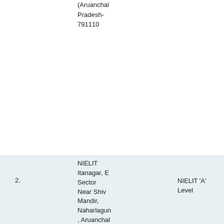Pradesh-791110
as fa exclu OR A NCV Proc Com Exan cond (Gov
2. NIELIT Itanagar, E Sector Near Shiv Mandir, Naharlagun, Aruanchal Pradesh-791110
NIELIT 'A' Level
O Level (Software)
7
Leve reco engi after Follo by ar Leve conc Gove reco engi after and a Leve case conc clear diplo awar succ of the strea